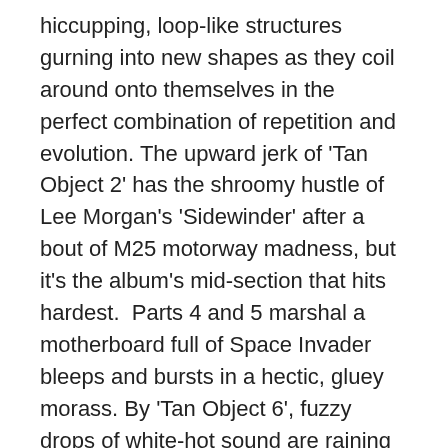hiccupping, loop-like structures gurning into new shapes as they coil around onto themselves in the perfect combination of repetition and evolution. The upward jerk of 'Tan Object 2' has the shroomy hustle of Lee Morgan's 'Sidewinder' after a bout of M25 motorway madness, but it's the album's mid-section that hits hardest.  Parts 4 and 5 marshal a motherboard full of Space Invader bleeps and bursts in a hectic, gluey morass. By 'Tan Object 6', fuzzy drops of white-hot sound are raining down like planet-wide invasion, 'War of Worlds' rescripted by Tomohiro Nishikado.
'Tan Object' is the second outing for Camens on London's Conditional label, after his split release with founder Calum Gunn for the label's debut, 'Slant Deviations'. Since then, Conditional has delved deep into the more eccentric ends of experimental electronic music, with rkss's 'Brostep